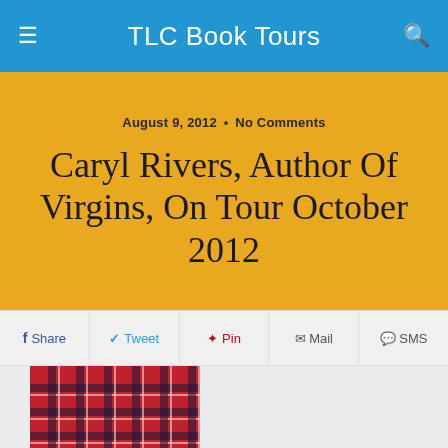TLC Book Tours
August 9, 2012 • No Comments
Caryl Rivers, Author Of Virgins, On Tour October 2012
Share  Tweet  Pin  Mail  SMS
[Figure (photo): Book cover of Virgins showing a red plaid skirt, with text THE INTERNATIONAL BESTSELLER at the bottom]